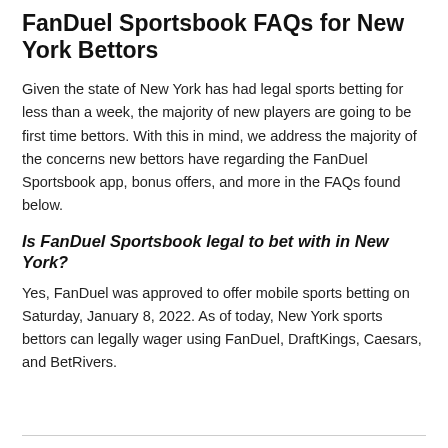FanDuel Sportsbook FAQs for New York Bettors
Given the state of New York has had legal sports betting for less than a week, the majority of new players are going to be first time bettors. With this in mind, we address the majority of the concerns new bettors have regarding the FanDuel Sportsbook app, bonus offers, and more in the FAQs found below.
Is FanDuel Sportsbook legal to bet with in New York?
Yes, FanDuel was approved to offer mobile sports betting on Saturday, January 8, 2022. As of today, New York sports bettors can legally wager using FanDuel, DraftKings, Caesars, and BetRivers.